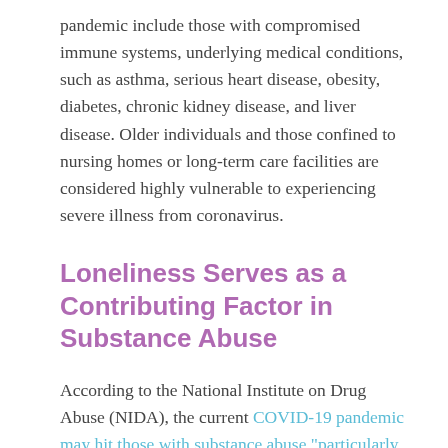pandemic include those with compromised immune systems, underlying medical conditions, such as asthma, serious heart disease, obesity, diabetes, chronic kidney disease, and liver disease. Older individuals and those confined to nursing homes or long-term care facilities are considered highly vulnerable to experiencing severe illness from coronavirus.
Loneliness Serves as a Contributing Factor in Substance Abuse
According to the National Institute on Drug Abuse (NIDA), the current COVID-19 pandemic may hit those with substance abuse "particularly hard." In particular, those who regularly take opioids or have diagnosed